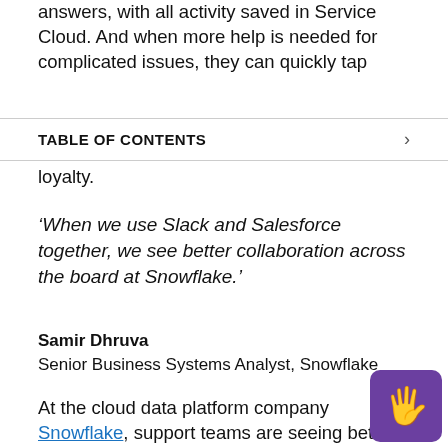answers, with all activity saved in Service Cloud. And when more help is needed for complicated issues, they can quickly tap
TABLE OF CONTENTS
loyalty.
'When we use Slack and Salesforce together, we see better collaboration across the board at Snowflake.'
Samir Dhruva
Senior Business Systems Analyst, Snowflake
At the cloud data platform company Snowflake, support teams are seeing better collaboration across the board. 'With the ability to pull up customer data from